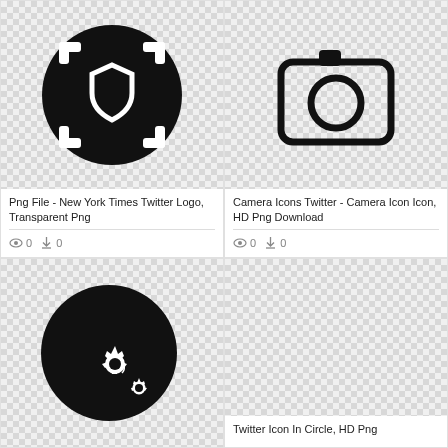[Figure (illustration): Black circle icon with white selection/crop handles and a shield icon in the center, on checkered transparent background]
Png File - New York Times Twitter Logo, Transparent Png
👁 0  ⬇ 0
[Figure (illustration): Camera icon outline (rounded rectangle body with circle lens and small viewfinder rectangle on top) on checkered transparent background]
Camera Icons Twitter - Camera Icon Icon, HD Png Download
👁 0  ⬇ 0
[Figure (illustration): Black circle icon with white gear/settings icons (large and small gears) on checkered transparent background]
[Figure (illustration): Empty checkered transparent background placeholder]
Twitter Icon In Circle, HD Png